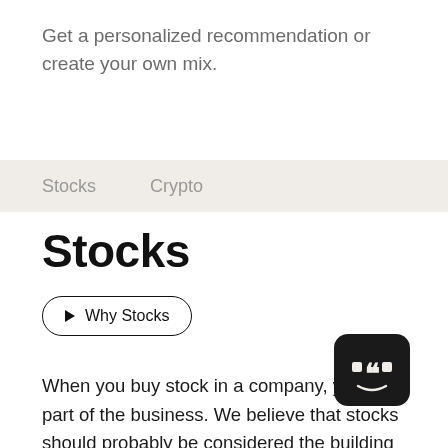Get a personalized recommendation or create your own mix.
Stocks   Crypto
Stocks
▶ Why Stocks
When you buy stock in a company, you own part of the business. We believe that stocks should probably be considered the building blocks of any long-term investor's portfolio. Stocks are an essential part of the investor starter pack and are the most common way for beginners to